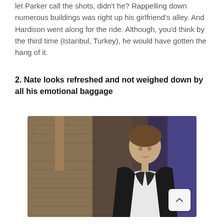let Parker call the shots, didn't he? Rappelling down numerous buildings was right up his girlfriend's alley. And Hardison went along for the ride. Although, you'd think by the third time (Istanbul, Turkey), he would have gotten the hang of it.
2. Nate looks refreshed and not weighed down by all his emotional baggage
[Figure (photo): A man with short brown hair wearing a dark jacket over a white t-shirt, standing in front of a brick wall background with blue lighting visible. The image appears to be a still from a TV show.]